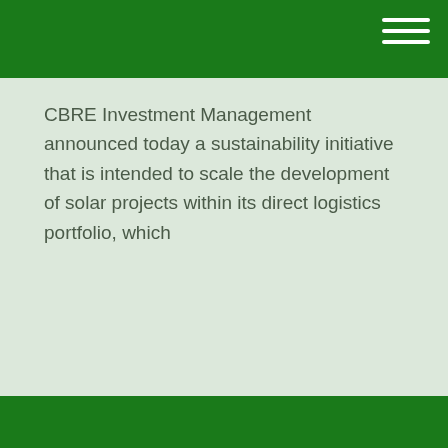CBRE Investment Management announced today a sustainability initiative that is intended to scale the development of solar projects within its direct logistics portfolio, which